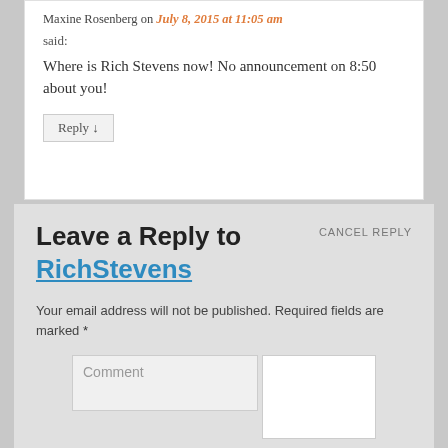Maxine Rosenberg on July 8, 2015 at 11:05 am
said:
Where is Rich Stevens now! No announcement on 8:50 about you!
Reply ↓
CANCEL REPLY
Leave a Reply to RichStevens
Your email address will not be published. Required fields are marked *
Comment